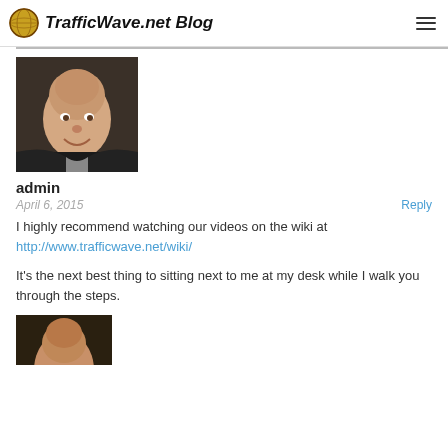TrafficWave.net Blog
[Figure (photo): Profile photo of admin user - bald man smiling in dark jacket]
admin
April 6, 2015    Reply
I highly recommend watching our videos on the wiki at http://www.trafficwave.net/wiki/
It's the next best thing to sitting next to me at my desk while I walk you through the steps.
[Figure (photo): Partial profile photo of another user at bottom of page]